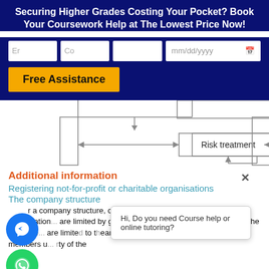Securing Higher Grades Costing Your Pocket? Book Your Coursework Help at The Lowest Price Now!
[Figure (screenshot): Website form with input fields (email, code, blank, date picker) and a yellow 'Free Assistance' button on a dark blue background]
[Figure (flowchart): Partial flowchart diagram showing a 'Risk treatment' box with bidirectional arrows on left and right, and a downward arrow from above and upward arrow from below]
Additional information
Registering not-for-profit or charitable organisations
The company structure
r a company structure, charitable or not-for-profit organisations are limited by guarantee. Limited by guarantee means the ty of the ... are limited to the amount the members u... rty of the